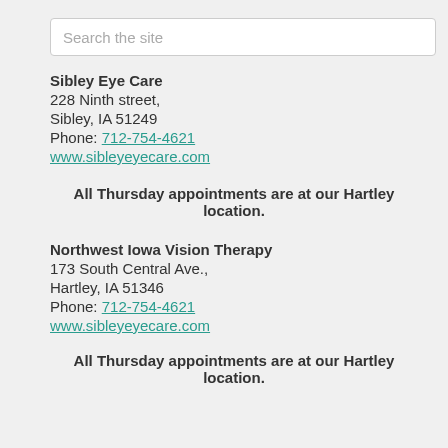[Figure (screenshot): Search bar with placeholder text 'Search the site' and a microphone icon to the right]
Sibley Eye Care
228 Ninth street,
Sibley, IA 51249
Phone: 712-754-4621
www.sibleyeyecare.com
All Thursday appointments are at our Hartley location.
Northwest Iowa Vision Therapy
173 South Central Ave.,
Hartley, IA 51346
Phone: 712-754-4621
www.sibleyeyecare.com
All Thursday appointments are at our Hartley location.